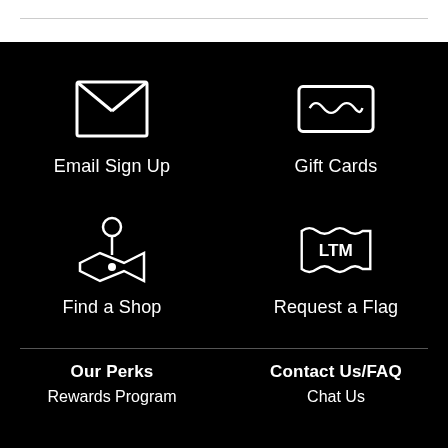[Figure (illustration): Email sign up icon: white envelope with X flap on black background]
Email Sign Up
[Figure (illustration): Gift cards icon: white credit card with wavy line pattern on black background]
Gift Cards
[Figure (illustration): Find a shop icon: white person with map/location marker on black background]
Find a Shop
[Figure (illustration): Request a Flag icon: white banner/flag with LTM text on black background]
Request a Flag
Our Perks
Rewards Program
Contact Us/FAQ
Chat Us